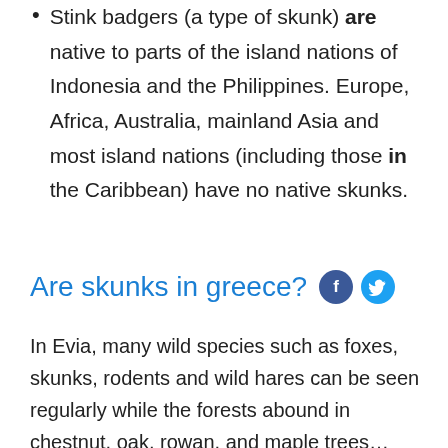Stink badgers (a type of skunk) are native to parts of the island nations of Indonesia and the Philippines. Europe, Africa, Australia, mainland Asia and most island nations (including those in the Caribbean) have no native skunks.
Are skunks in greece?
In Evia, many wild species such as foxes, skunks, rodents and wild hares can be seen regularly while the forests abound in chestnut, oak, rowan, and maple trees… Equally enough on Crete, you will find the rare species of goat species called Kri Kri that only breeds in some parts of Crete.